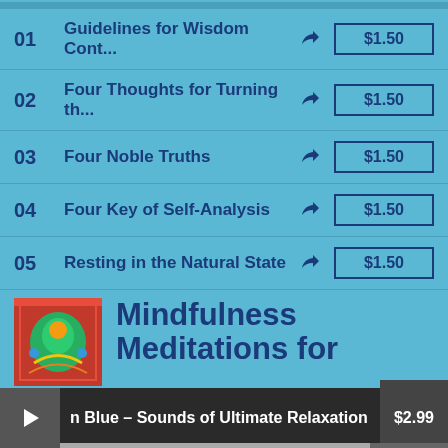01  Guidelines for Wisdom Cont...  $1.50
02  Four Thoughts for Turning th...  $1.50
03  Four Noble Truths  $1.50
04  Four Key of Self-Analysis  $1.50
05  Resting in the Natural State  $1.50
[Figure (illustration): Album thumbnail - colorful Tibetan Buddhist artwork with green deity figure]
Mindfulness Meditations for
n Blue – Sounds of Ultimate Relaxation  $2.99